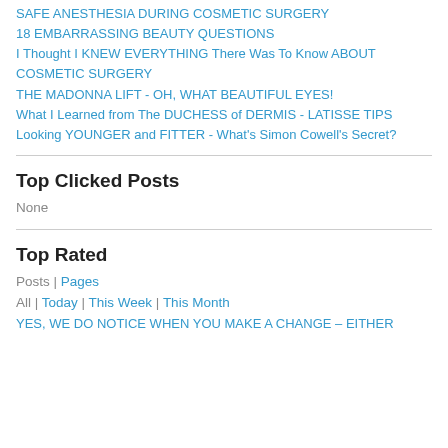SAFE ANESTHESIA DURING COSMETIC SURGERY
18 EMBARRASSING BEAUTY QUESTIONS
I Thought I KNEW EVERYTHING There Was To Know ABOUT COSMETIC SURGERY
THE MADONNA LIFT - OH, WHAT BEAUTIFUL EYES!
What I Learned from The DUCHESS of DERMIS - LATISSE TIPS
Looking YOUNGER and FITTER - What's Simon Cowell's Secret?
Top Clicked Posts
None
Top Rated
Posts | Pages
All | Today | This Week | This Month
YES, WE DO NOTICE WHEN YOU MAKE A CHANGE – EITHER